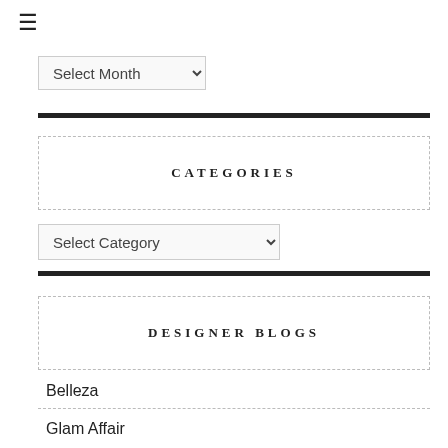[Figure (other): Hamburger menu icon (three horizontal lines)]
[Figure (other): Select Month dropdown widget]
CATEGORIES
[Figure (other): Select Category dropdown widget]
DESIGNER BLOGS
Belleza
Glam Affair